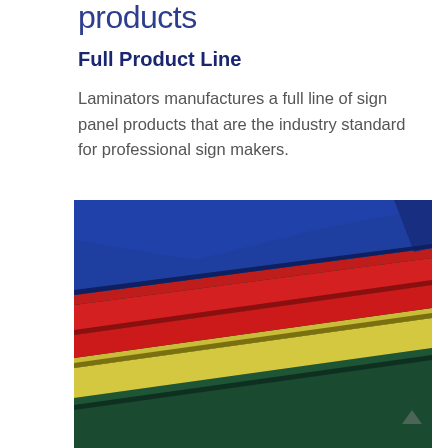products
Full Product Line
Laminators manufactures a full line of sign panel products that are the industry standard for professional sign makers.
[Figure (photo): Stacked colorful sign panel sheets — blue on top, red in middle, yellow and green below — photographed at an angle showing their thickness and smooth surfaces.]